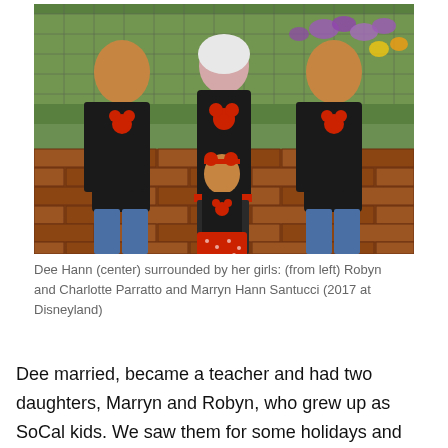[Figure (photo): Four females wearing matching black shirts with red Minnie Mouse designs posing in front of a brick wall and green fence with purple and yellow flowers. Three adults and one young girl. The girl wears a red polka-dot skirt and Minnie Mouse headband.]
Dee Hann (center) surrounded by her girls: (from left) Robyn and Charlotte Parratto and Marryn Hann Santucci (2017 at Disneyland)
Dee married, became a teacher and had two daughters, Marryn and Robyn, who grew up as SoCal kids. We saw them for some holidays and trips as we went south or they